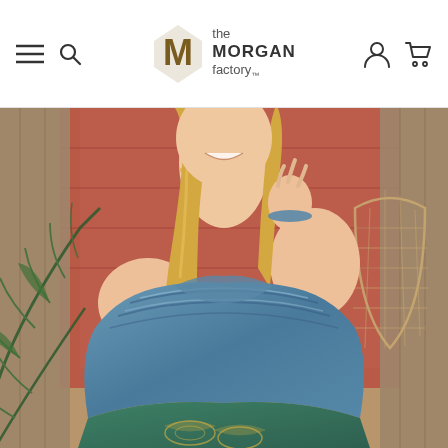The Morgan Factory — navigation header with logo, menu, search, account, and cart icons
[Figure (photo): A smiling blonde woman wearing an off-shoulder blue and green striped dress with ornate gold brocade pattern at the bottom, posing against a bohemian backdrop with a decorative rug and palm leaves, with a wicker chair visible to the right.]